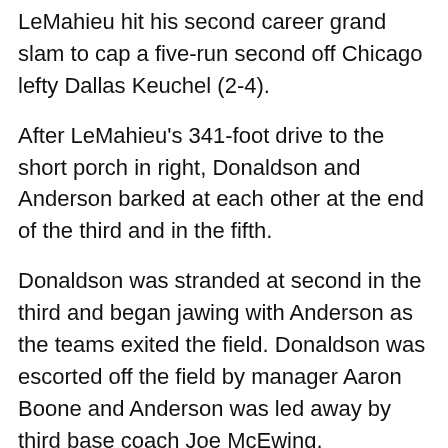LeMahieu hit his second career grand slam to cap a five-run second off Chicago lefty Dallas Keuchel (2-4).
After LeMahieu's 341-foot drive to the short porch in right, Donaldson and Anderson barked at each other at the end of the third and in the fifth.
Donaldson was stranded at second in the third and began jawing with Anderson as the teams exited the field. Donaldson was escorted off the field by manager Aaron Boone and Anderson was led away by third base coach Joe McEwing.
In the fifth, Chicago catcher Yasmani Grandal started yelling at Donaldson and Anderson soon began shouting at Donaldson. The teams gathered at home plate as relievers ran in from the bullpens.
Anderson continued yelling at Donaldson while